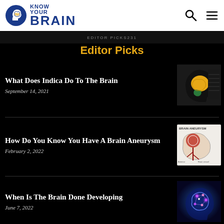Know Your Brain
EDITOR PICKS231
Editor Picks
What Does Indica Do To The Brain
September 14, 2021
[Figure (illustration): Cross-section diagram of a human brain shown inside a silhouette of a head in profile]
How Do You Know You Have A Brain Aneurysm
February 2, 2022
[Figure (illustration): Medical diagram of a brain aneurysm with text 'BRAIN ANEURYSM' at top]
When Is The Brain Done Developing
June 7, 2022
[Figure (illustration): Illuminated brain scan photo showing neural activity with purple/pink glowing lights]